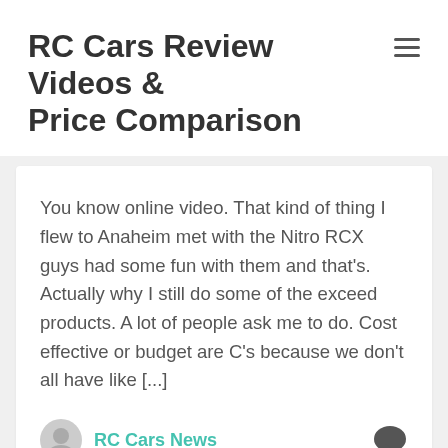RC Cars Review Videos & Price Comparison
You know online video. That kind of thing I flew to Anaheim met with the Nitro RCX guys had some fun with them and that's. Actually why I still do some of the exceed products. A lot of people ask me to do. Cost effective or budget are C's because we don't all have like [...]
RC Cars News